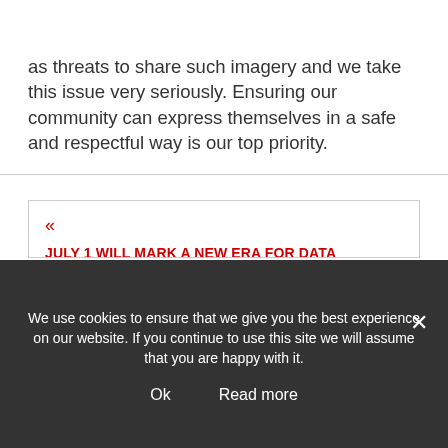sharing of non-consensual intimate imagery, as well as threats to share such imagery and we take this issue very seriously. Ensuring our community can express themselves in a safe and respectful way is our top priority.
JULY 1 WILL MARK A NEW ERA FOR DATA PRIVACY, WITH ENFORCEMENT OF THE CALIFORNIA CONSUMER PRIVACY ACT (CCPA) SCHEDULED TO BEGIN. THE CCPA HAS ARRIVED WITH LITTLE OF THE FANFARE THAT GREETED THE EU'S GENERAL DATA PROTECTION REGULATION (GDPR) IN 2018. GDPR WAS H…
We use cookies to ensure that we give you the best experience on our website. If you continue to use this site we will assume that you are happy with it.
Ok    Read more